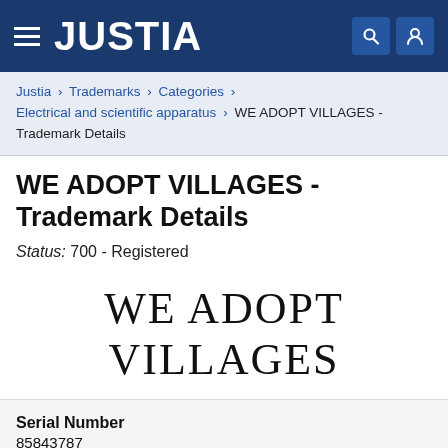JUSTIA
Justia › Trademarks › Categories › Electrical and scientific apparatus › WE ADOPT VILLAGES - Trademark Details
WE ADOPT VILLAGES - Trademark Details
Status: 700 - Registered
[Figure (logo): Trademark wordmark showing 'WE ADOPT VILLAGES' in large serif font]
Serial Number
85843787